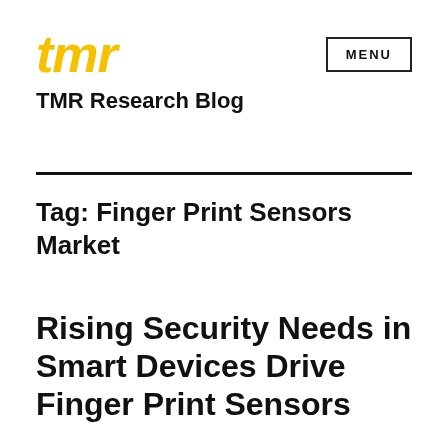[Figure (logo): TMR logo in golden/yellow italic bold font]
MENU
TMR Research Blog
Tag: Finger Print Sensors Market
Rising Security Needs in Smart Devices Drive Finger Print Sensors